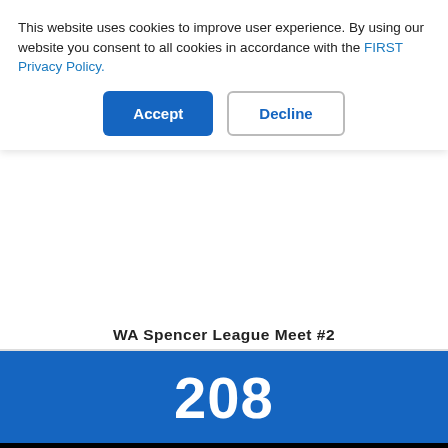This website uses cookies to improve user experience. By using our website you consent to all cookies in accordance with the FIRST Privacy Policy.
Accept
Decline
WA Spencer League Meet #2
208
Final Score
170
Autonomous
12611·
19861·